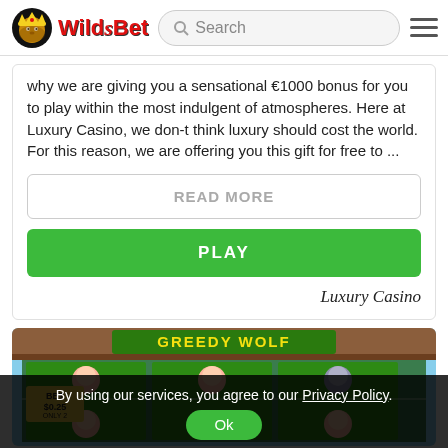WildsBet – Search – Menu
why we are giving you a sensational €1000 bonus for you to play within the most indulgent of atmospheres. Here at Luxury Casino, we don-t think luxury should cost the world. For this reason, we are offering you this gift for free to ...
READ MORE
PLAY
Luxury Casino
[Figure (screenshot): Greedy Wolf slot game screenshot showing cartoon pig characters on slot reels with 'BET $0.25' text visible and 'GREEDY WOLF' title at top]
By using our services, you agree to our Privacy Policy. Ok